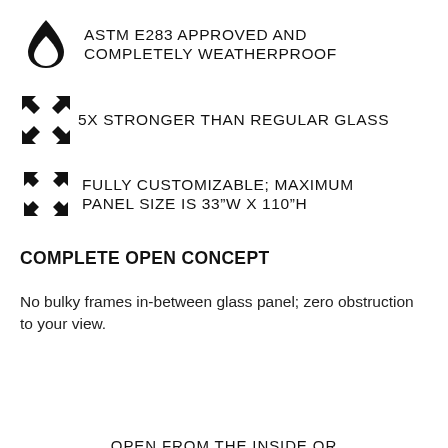ASTM E283 APPROVED AND COMPLETELY WEATHERPROOF
5X STRONGER THAN REGULAR GLASS
FULLY CUSTOMIZABLE; MAXIMUM PANEL SIZE IS 33"W X 110"H
COMPLETE OPEN CONCEPT
No bulky frames in-between glass panel; zero obstruction to your view.
OPEN FROM THE INSIDE OR